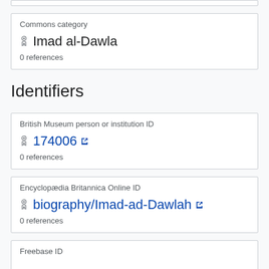| Commons category | Imad al-Dawla | 0 references |
Identifiers
| British Museum person or institution ID | 174006 | 0 references |
| Encyclopædia Britannica Online ID | biography/Imad-ad-Dawlah | 0 references |
| Freebase ID |  |  |